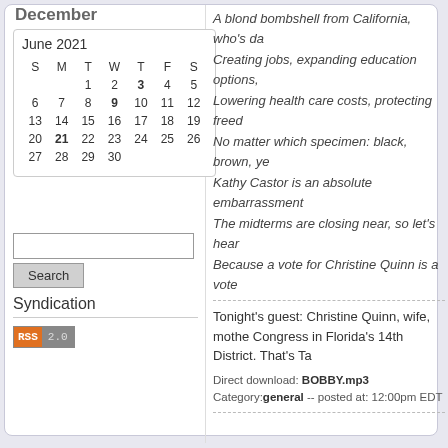December
| S | M | T | W | T | F | S |
| --- | --- | --- | --- | --- | --- | --- |
|  |  | 1 | 2 | 3 | 4 | 5 |
| 6 | 7 | 8 | 9 | 10 | 11 | 12 |
| 13 | 14 | 15 | 16 | 17 | 18 | 19 |
| 20 | 21 | 22 | 23 | 24 | 25 | 26 |
| 27 | 28 | 29 | 30 |  |  |  |
Search
Syndication
[Figure (other): RSS 2.0 badge]
A blond bombshell from California, who's da
Creating jobs, expanding education options,
Lowering health care costs, protecting freed
No matter which specimen: black, brown, ye
Kathy Castor is an absolute embarrassment
The midterms are closing near, so let's hear
Because a vote for Christine Quinn is a vote
Tonight's guest: Christine Quinn, wife, mothe Congress in Florida's 14th District. That's Ta
Direct download: BOBBY.mp3 Category:general -- posted at: 12:00pm EDT